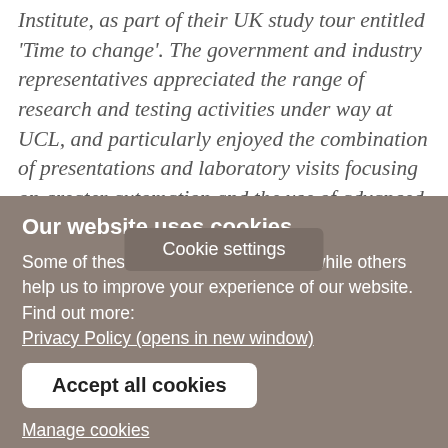Institute, as part of their UK study tour entitled 'Time to change'. The government and industry representatives appreciated the range of research and testing activities under way at UCL, and particularly enjoyed the combination of presentations and laboratory visits focusing on greater automation and the use of advanced robotics. We discussed the many challenges facing construction businesses in the UK and Hong Kong, concluding that there were many issues in common but were optimistic about the possibility of further collaboration with CICID at the
Cookie settings
Our website uses cookies
Some of these cookies are essential, while others help us to improve your experience of our website. Find out more:
Privacy Policy (opens in new window)

Accept all cookies
Manage cookies